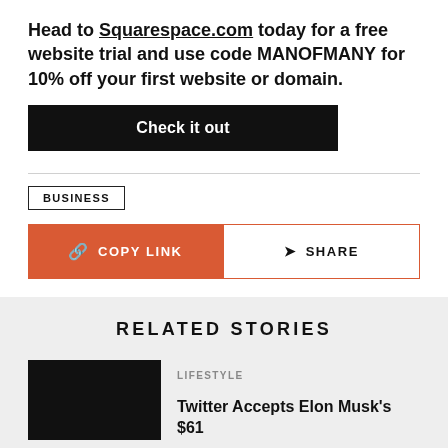Head to Squarespace.com today for a free website trial and use code MANOFMANY for 10% off your first website or domain.
[Figure (other): Black 'Check it out' button]
[Figure (other): BUSINESS tag label in a bordered box]
[Figure (other): Orange 'COPY LINK' button and white 'SHARE' button with red border]
RELATED STORIES
LIFESTYLE
Twitter Accepts Elon Musk's $61